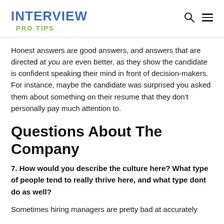INTERVIEW PRO TIPS
Honest answers are good answers, and answers that are directed at you are even better, as they show the candidate is confident speaking their mind in front of decision-makers. For instance, maybe the candidate was surprised you asked them about something on their resume that they don't personally pay much attention to.
Questions About The Company
7. How would you describe the culture here? What type of people tend to really thrive here, and what type dont do as well?
Sometimes hiring managers are pretty bad at accurately